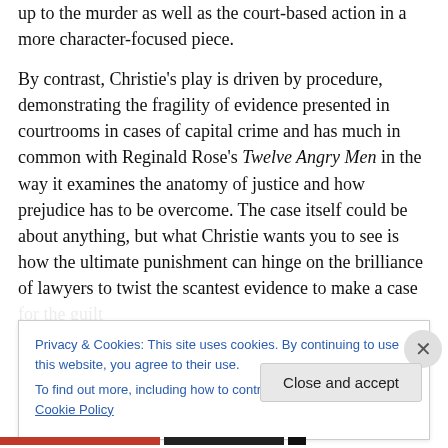up to the murder as well as the court-based action in a more character-focused piece.
By contrast, Christie's play is driven by procedure, demonstrating the fragility of evidence presented in courtrooms in cases of capital crime and has much in common with Reginald Rose's Twelve Angry Men in the way it examines the anatomy of justice and how prejudice has to be overcome. The case itself could be about anything, but what Christie wants you to see is how the ultimate punishment can hinge on the brilliance of lawyers to twist the scantest evidence to make a case for the guilt
Privacy & Cookies: This site uses cookies. By continuing to use this website, you agree to their use.
To find out more, including how to control cookies, see here: Cookie Policy